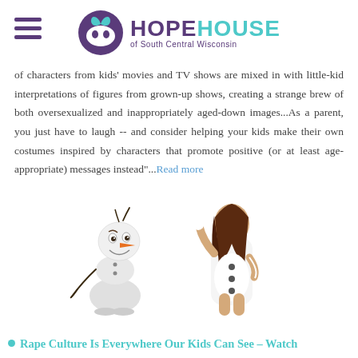HOPE HOUSE of South Central Wisconsin
of characters from kids' movies and TV shows are mixed in with little-kid interpretations of figures from grown-up shows, creating a strange brew of both oversexualized and inappropriately aged-down images...As a parent, you just have to laugh -- and consider helping your kids make their own costumes inspired by characters that promote positive (or at least age-appropriate) messages instead"...Read more
[Figure (illustration): Side-by-side image of Olaf the snowman character from Frozen (animated, left) next to a woman in a sexy Olaf Halloween costume (right).]
Rape Culture Is Everywhere Our Kids Can See – Watch